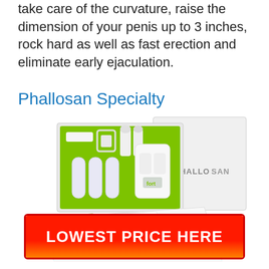take care of the curvature, raise the dimension of your penis up to 3 inches, rock hard as well as fast erection and eliminate early ejaculation.
Phallosan Specialty
[Figure (photo): Phallosan Forte product kit showing a green-lined box with multiple extension devices, a white branded box with 'PHALLOSAN' text, and product instruction sheets spread below.]
LOWEST PRICE HERE